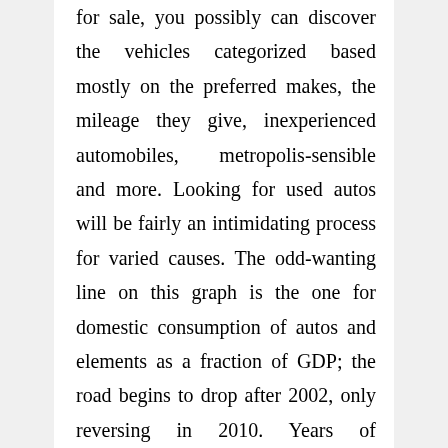for sale, you possibly can discover the vehicles categorized based mostly on the preferred makes, the mileage they give, inexperienced automobiles, metropolis-sensible and more. Looking for used autos will be fairly an intimidating process for varied causes. The odd-wanting line on this graph is the one for domestic consumption of autos and elements as a fraction of GDP; the road begins to drop after 2002, only reversing in 2010. Years of experience and expert mechanics are only two major reasons you